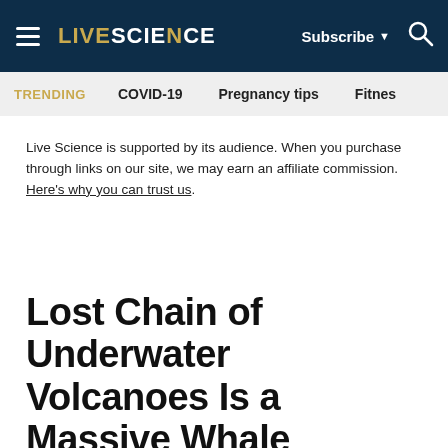LIVE SCIENCE — Subscribe ▾ 🔍
TRENDING   COVID-19   Pregnancy tips   Fitnes
Live Science is supported by its audience. When you purchase through links on our site, we may earn an affiliate commission. Here's why you can trust us.
Lost Chain of Underwater Volcanoes Is a Massive Whale Superhighway